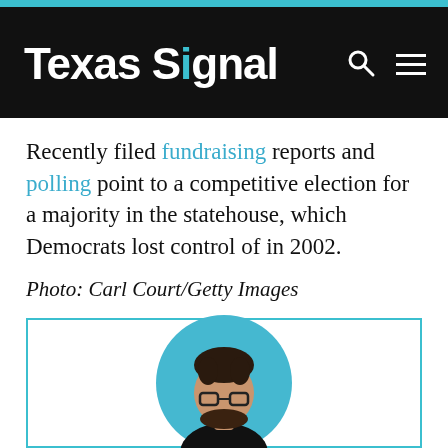Texas Signal
Recently filed fundraising reports and polling point to a competitive election for a majority in the statehouse, which Democrats lost control of in 2002.
Photo: Carl Court/Getty Images
[Figure (photo): Circular author headshot photo of a young man with glasses and dark hair, wearing a black shirt, on a light blue background, inside a white box with cyan border]